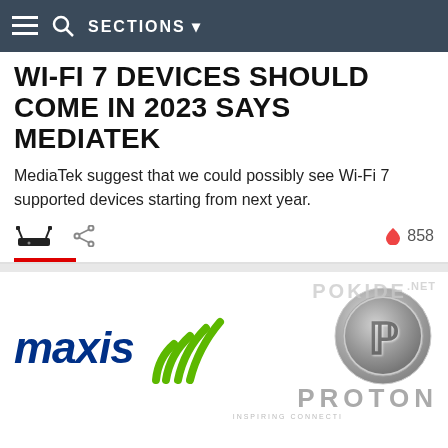SECTIONS
WI-FI 7 DEVICES SHOULD COME IN 2023 SAYS MEDIATEK
MediaTek suggest that we could possibly see Wi-Fi 7 supported devices starting from next year.
858
[Figure (logo): Maxis logo with blue italic text 'maxis' and green wifi arc symbol]
[Figure (logo): Pokide.NET logo with Proton car logo, PROTON text, and 'Inspiring Connections' tagline]
[NEWS] Maxis Teams Up With PROTON For 5G Case Deployment